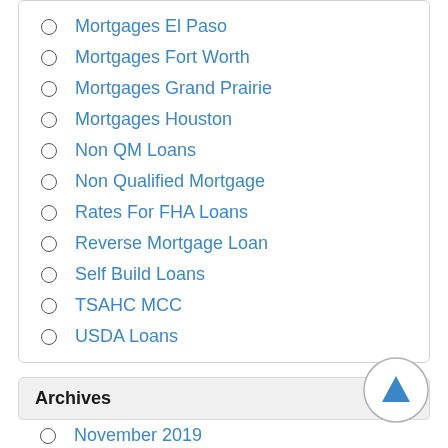Mortgages El Paso
Mortgages Fort Worth
Mortgages Grand Prairie
Mortgages Houston
Non QM Loans
Non Qualified Mortgage
Rates For FHA Loans
Reverse Mortgage Loan
Self Build Loans
TSAHC MCC
USDA Loans
Archives
November 2019
October 2019
September 2019
August 2019
July 2019